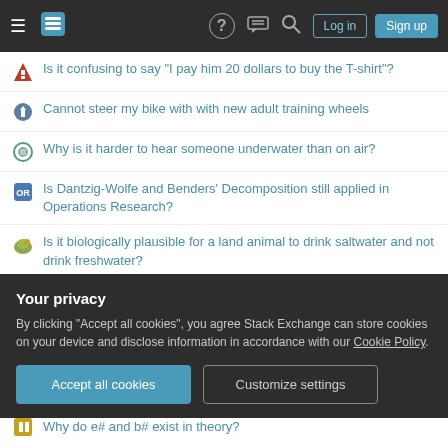Stack Exchange navigation bar with hamburger menu, logo, help, chat, search, Log in, Sign up buttons
Is it confusing to say "I pay him 20 dollars to buy the T-shirt"?
Cannot steer my bike with with new adult training wheels
Why is it harder to hear someone underwater than on air?
Is Dantzig-Wolfe and Benders' Decomposition still applied in Operations Research?
Is it biologically plausible for a land animal to drink saltwater and not drink freshwater?
How do I calculate enthalpy change calculations questions?
How to analyze this thermistor resistance op-amp circuit?
Is there a God of the Sea other than Umberlee in the Forgotten
Your privacy
By clicking "Accept all cookies", you agree Stack Exchange can store cookies on your device and disclose information in accordance with our Cookie Policy.
Why do e# and b# exist in theory?